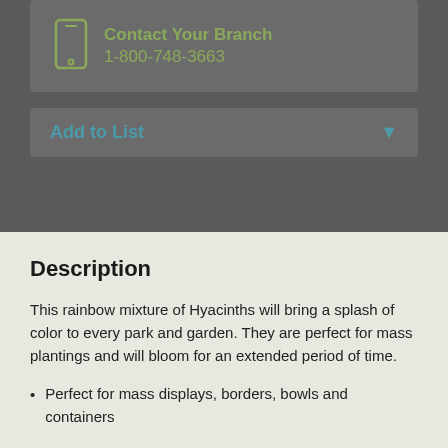Contact Your Branch
1-800-748-3663
Add to List
Description
This rainbow mixture of Hyacinths will bring a splash of color to every park and garden. They are perfect for mass plantings and will bloom for an extended period of time.
Perfect for mass displays, borders, bowls and containers